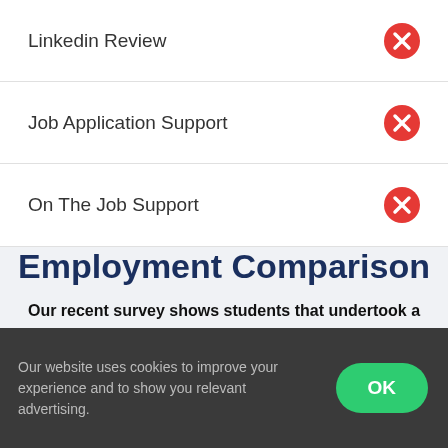Linkedin Review ✗
Job Application Support ✗
On The Job Support ✗
Employment Comparison
Our recent survey shows students that undertook a programme compared to doing a course, were 8 x more likely to secure a role.
Our website uses cookies to improve your experience and to show you relevant advertising.